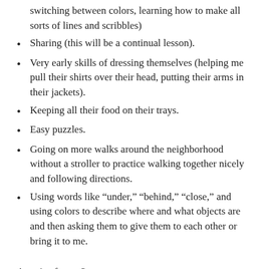switching between colors, learning how to make all sorts of lines and scribbles)
Sharing (this will be a continual lesson).
Very early skills of dressing themselves (helping me pull their shirts over their head, putting their arms in their jackets).
Keeping all their food on their trays.
Easy puzzles.
Going on more walks around the neighborhood without a stroller to practice walking together nicely and following directions.
Using words like “under,” “behind,” “close,” and using colors to describe where and what objects are and then asking them to give them to each other or bring it to me.
Any tips for me?
What are you working on with your kids right now?